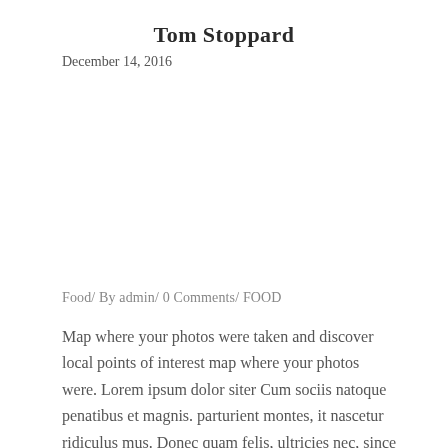Tom Stoppard
December 14, 2016
Food/ By admin/ 0 Comments/ FOOD
Map where your photos were taken and discover local points of interest map where your photos were. Lorem ipsum dolor siter Cum sociis natoque penatibus et magnis. parturient montes, it nascetur ridiculus mus. Donec quam felis, ultricies nec, since pellentesque eu, pretium quis consequat